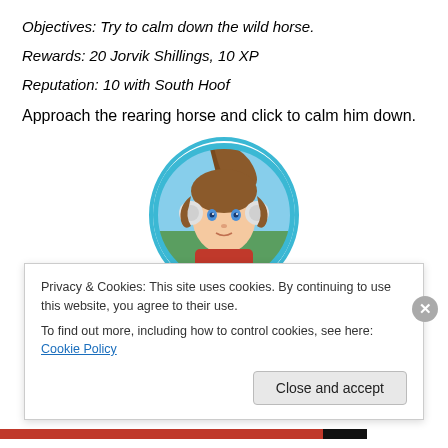Objectives: Try to calm down the wild horse.
Rewards: 20 Jorvik Shillings, 10 XP
Reputation: 10 with South Hoof
Approach the rearing horse and click to calm him down.
[Figure (illustration): Circular avatar portrait of a young girl character with brown hair in pigtails, wearing white earmuffs and a red outfit, with blue sky and green field background, framed by a cyan/teal circle border.]
Privacy & Cookies: This site uses cookies. By continuing to use this website, you agree to their use.
To find out more, including how to control cookies, see here: Cookie Policy